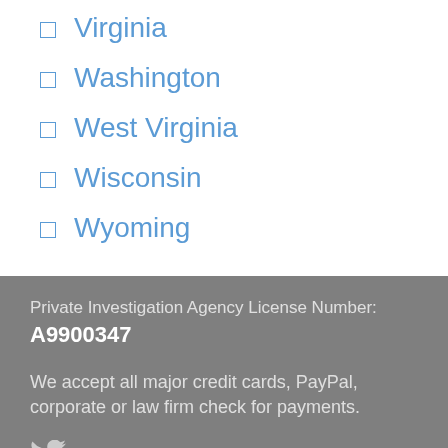Virginia
Washington
West Virginia
Wisconsin
Wyoming
Private Investigation Agency License Number:
A9900347
We accept all major credit cards, PayPal, corporate or law firm check for payments.